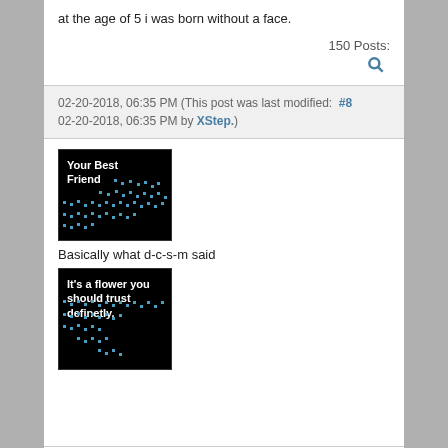at the age of 5 i was born without a face.
150 Posts:
02-20-2018, 06:35 PM (This post was last modified: #8 02-20-2018, 06:35 PM by XStep.)
[Figure (screenshot): Game screenshot with black background, text 'Your Best Friend' in white, and blue dot pattern below]
Basically what d-c-s-m said
[Figure (screenshot): Game screenshot with black background, text 'It's a flower you should trust definetly.' in white, and blue dot pattern below]